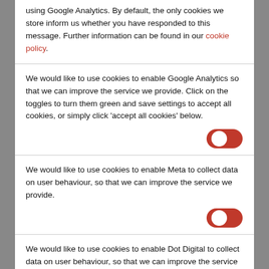using Google Analytics. By default, the only cookies we store inform us whether you have responded to this message. Further information can be found in our cookie policy.
We would like to use cookies to enable Google Analytics so that we can improve the service we provide. Click on the toggles to turn them green and save settings to accept all cookies, or simply click 'accept all cookies' below.
[Figure (other): Red toggle switch in off position (circle on left)]
We would like to use cookies to enable Meta to collect data on user behaviour, so that we can improve the service we provide.
[Figure (other): Red toggle switch in off position (circle on left)]
We would like to use cookies to enable Dot Digital to collect data on user behaviour, so that we can improve the service we provide.
[Figure (other): Red toggle switch in off position (circle on left)]
she found her ideal location, she quickly realised that she could tap into the